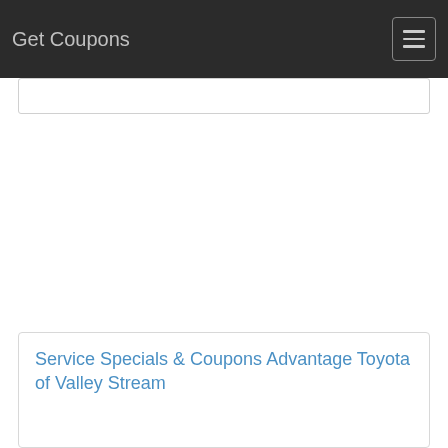Get Coupons
Service Specials & Coupons Advantage Toyota of Valley Stream